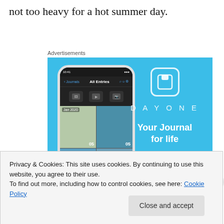not too heavy for a hot summer day.
Advertisements
[Figure (screenshot): DayOne app advertisement showing a smartphone with the DayOne journal app interface open, displaying photo grid entries dated Jan 2020. Right side shows DayOne logo icon, the brand name 'DAY ONE' with letter-spacing, and tagline 'Your Journal for life' on a light blue background.]
Privacy & Cookies: This site uses cookies. By continuing to use this website, you agree to their use.
To find out more, including how to control cookies, see here: Cookie Policy